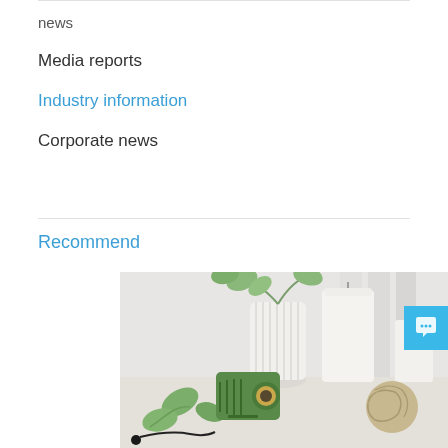news
Media reports
Industry information
Corporate news
Recommend
[Figure (photo): A styled tabletop scene with a small green retro radio/speaker, white ribbed ceramic vase with eucalyptus leaves, tall white pillar candle, smaller white candle, ball of twine, and headphone cord on a white surface.]